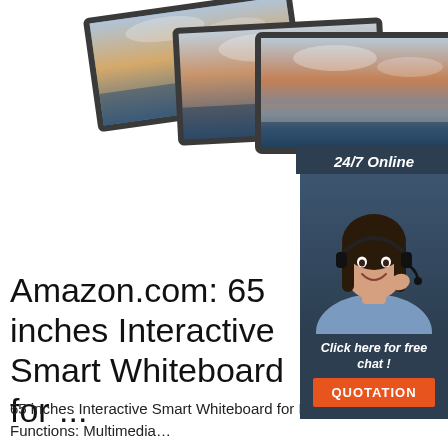[Figure (photo): Three flat panel interactive whiteboards/displays stacked in a fan arrangement against a white background]
[Figure (infographic): 24/7 Online chat widget with a female customer service agent wearing a headset, 'Click here for free chat!' text, and an orange QUOTATION button]
Amazon.com: 65 inches Interactive Smart Whiteboard for ...
65 inches Interactive Smart Whiteboard for Meeting and Teaching Room Full HD Flat Panel with Rolling TV Stand Specifications: Functions: Multimediaintendant system machine light...
[Figure (logo): TOP badge/logo with orange dots forming an arc above the word TOP in red/orange letters]